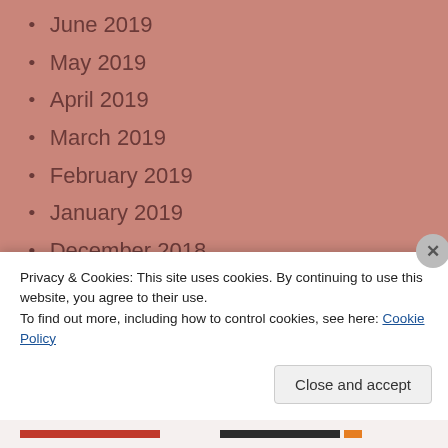June 2019
May 2019
April 2019
March 2019
February 2019
January 2019
December 2018
November 2018
October 2018
September 2018
August 2018
Privacy & Cookies: This site uses cookies. By continuing to use this website, you agree to their use.
To find out more, including how to control cookies, see here: Cookie Policy